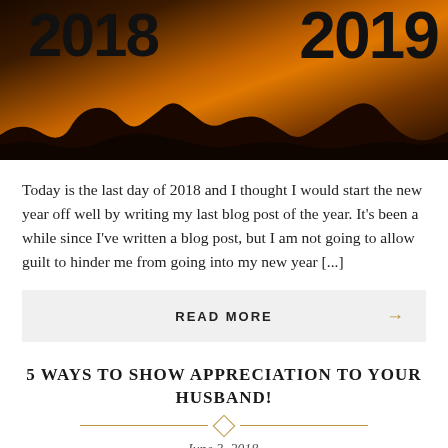[Figure (photo): A sunset/dusk landscape photo showing silhouettes of rocky mountains against an orange sky, with large year numbers '2018' on the left and '2019' on the right]
Today is the last day of 2018 and I thought I would start the new year off well by writing my last blog post of the year. It's been a while since I've written a blog post, but I am not going to allow guilt to hinder me from going into my new year [...]
READ MORE →
5 WAYS TO SHOW APPRECIATION TO YOUR HUSBAND!
June 3, 2018.
Reading time 12 minutes.